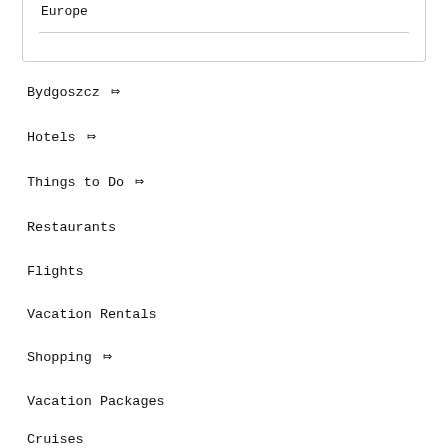Europe
Bydgoszcz
Hotels
Things to Do
Restaurants
Flights
Vacation Rentals
Shopping
Vacation Packages
Cruises